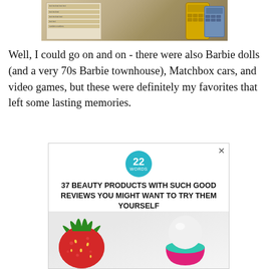[Figure (photo): Cropped photo of a vintage catalog page showing two handheld calculators, one yellow and one blue/gray, against a beige background with printed text.]
Well, I could go on and on - there were also Barbie dolls (and a very 70s Barbie townhouse), Matchbox cars, and video games, but these were definitely my favorites that left some lasting memories.
[Figure (photo): Advertisement for '22 Words' featuring the headline '37 BEAUTY PRODUCTS WITH SUCH GOOD REVIEWS YOU MIGHT WANT TO TRY THEM YOURSELF' with an image of a strawberry and an EOS lip balm product.]